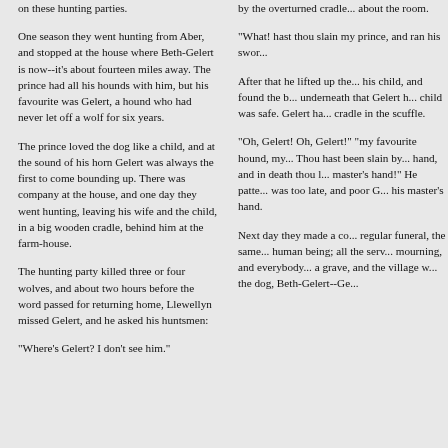on these hunting parties.
One season they went hunting from Aber, and stopped at the house where Beth-Gelert is now--it's about fourteen miles away. The prince had all his hounds with him, but his favourite was Gelert, a hound who had never let off a wolf for six years.
The prince loved the dog like a child, and at the sound of his horn Gelert was always the first to come bounding up. There was company at the house, and one day they went hunting, leaving his wife and the child, in a big wooden cradle, behind him at the farm-house.
The hunting party killed three or four wolves, and about two hours before the word passed for returning home, Llewellyn missed Gelert, and he asked his huntsmen:
"Where's Gelert? I don't see him."
by the overturned cradle... about the room.
"What! hast thou slain my prince, and ran his swor...
After that he lifted up the... his child, and found the b... underneath that Gelert h... child was safe. Gelert ha... cradle in the scuffle.
"Oh, Gelert! Oh, Gelert!" "my favourite hound, my... Thou hast been slain by... hand, and in death thou l... master's hand!" He patte... was too late, and poor G... his master's hand.
Next day they made a co... regular funeral, the same... human being; all the serv... mourning, and everybody... a grave, and the village w... the dog, Beth-Gelert--Ge...